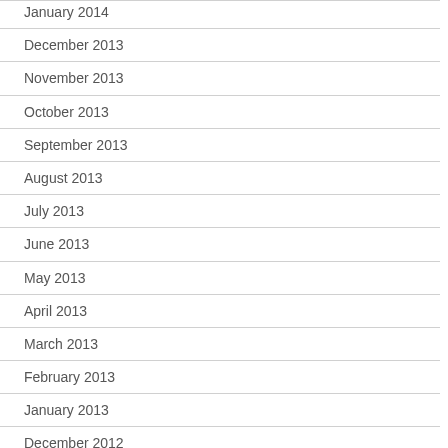January 2014
December 2013
November 2013
October 2013
September 2013
August 2013
July 2013
June 2013
May 2013
April 2013
March 2013
February 2013
January 2013
December 2012